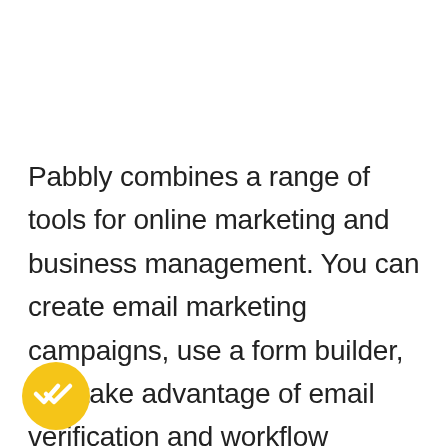Pabbly combines a range of tools for online marketing and business management. You can create email marketing campaigns, use a form builder, and take advantage of email verification and workflow automation. Pabbly offers convenient app integrations for all its features.
[Figure (logo): Yellow circular badge with a double-checkmark icon inside]